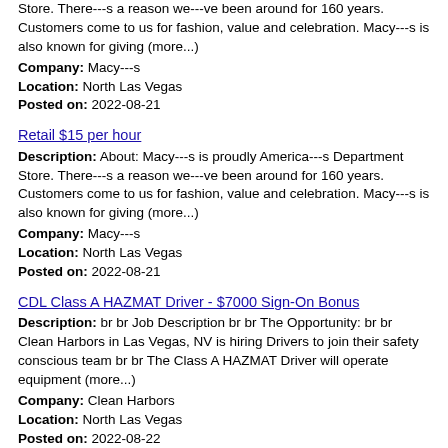Store. There---s a reason we---ve been around for 160 years. Customers come to us for fashion, value and celebration. Macy---s is also known for giving (more...)
Company: Macy---s
Location: North Las Vegas
Posted on: 2022-08-21
Retail $15 per hour
Description: About: Macy---s is proudly America---s Department Store. There---s a reason we---ve been around for 160 years. Customers come to us for fashion, value and celebration. Macy---s is also known for giving (more...)
Company: Macy---s
Location: North Las Vegas
Posted on: 2022-08-21
CDL Class A HAZMAT Driver - $7000 Sign-On Bonus
Description: br br Job Description br br The Opportunity: br br Clean Harbors in Las Vegas, NV is hiring Drivers to join their safety conscious team br br The Class A HAZMAT Driver will operate equipment (more...)
Company: Clean Harbors
Location: North Las Vegas
Posted on: 2022-08-22
Hair Stylist
Description: YOU RE A PRO TIME TO GET PAID LIKE ONE New pay structure New attire New Area Leader Snort Clips is